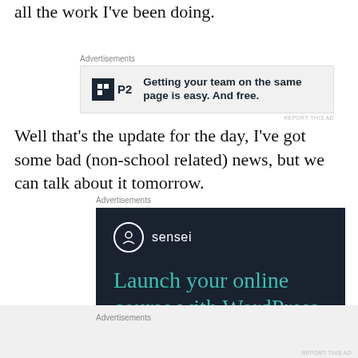all the work I've been doing.
[Figure (other): P2 advertisement: Getting your team on the same page is easy. And free.]
Well that's the update for the day, I've got some bad (non-school related) news, but we can talk about it tomorrow.
[Figure (other): Sensei advertisement: Launch your online course with WordPress]
Advertisements